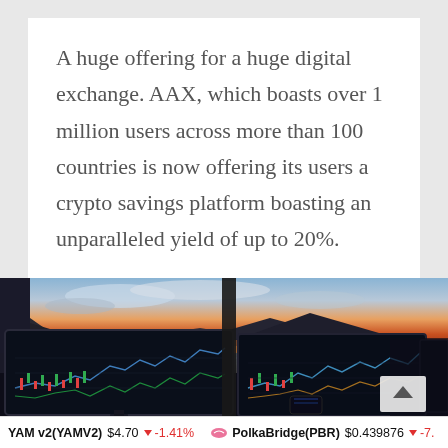A huge offering for a huge digital exchange. AAX, which boasts over 1 million users across more than 100 countries is now offering its users a crypto savings platform boasting an unparalleled yield of up to 20%.
[Figure (photo): Photo of multiple trading monitors displaying financial charts and candlestick graphs, with a dramatic sunset over mountains and water visible through the window behind the screens.]
YAM v2(YAMV2)  $4.70  -1.41%    PolkaBridge(PBR)  $0.439876  -7...